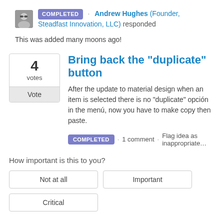COMPLETED · Andrew Hughes (Founder, Steadfast Innovation, LLC) responded
This was added many moons ago!
Bring back the "duplicate" button
After the update to material design when an item is selected there is no "duplicate" opción in the menú, now you have to make copy then paste.
COMPLETED · 1 comment · Flag idea as inappropriate…
How important is this to you?
Not at all
Important
Critical